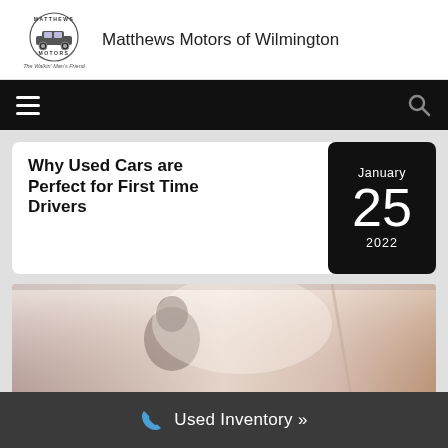Matthews Motors of Wilmington
[Figure (logo): Matthews Motors logo with vintage car illustration and text 'The Walkin' Man's Friend']
Why Used Cars are Perfect for First Time Drivers
January 25 2022
[Figure (photo): Photo of person driving a car, viewed from side/back]
Used Inventory »